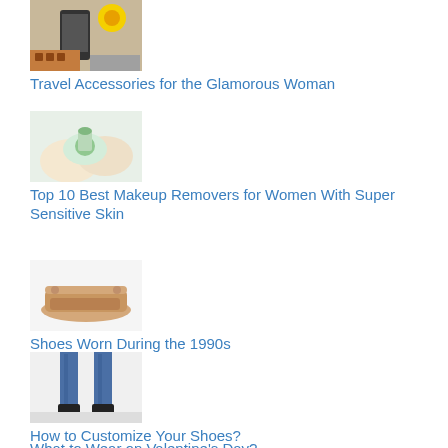[Figure (photo): Thumbnail image related to travel accessories showing a phone and sunflower]
Travel Accessories for the Glamorous Woman
[Figure (photo): Thumbnail image of hands holding a makeup remover product]
Top 10 Best Makeup Removers for Women With Super Sensitive Skin
[Figure (photo): Thumbnail image of light tan clog shoes]
Shoes Worn During the 1990s
[Figure (photo): Thumbnail image of person wearing blue jeans and black boots]
How to Customize Your Shoes?
What to Wear on Valentine's Day?